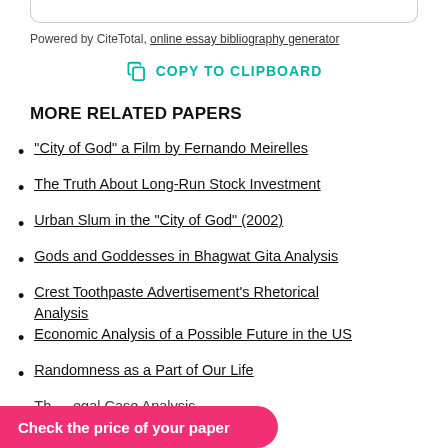Powered by CiteTotal, online essay bibliography generator
COPY TO CLIPBOARD
MORE RELATED PAPERS
"City of God" a Film by Fernando Meirelles
The Truth About Long-Run Stock Investment
Urban Slum in the "City of God" (2002)
Gods and Goddesses in Bhagwat Gita Analysis
Crest Toothpaste Advertisement's Rhetorical Analysis
Economic Analysis of a Possible Future in the US
Randomness as a Part of Our Life
...egal Case Analysis
...eriment
Check the price of your paper